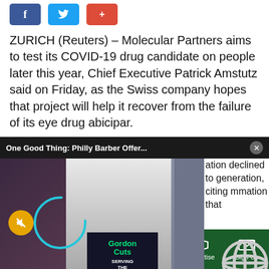[Figure (other): Social media share buttons: Facebook (blue), Twitter (blue), Pinterest/Google+ (red)]
ZURICH (Reuters) – Molecular Partners aims to test its COVID-19 drug candidate on people later this year, Chief Executive Patrick Amstutz said on Friday, as the Swiss company hopes that project will help it recover from the failure of its eye drug abicipar.
[Figure (screenshot): Video overlay with toast notification bar reading 'One Good Thing: Philly Barber Offer...' with close button, showing a video of a barber event with a sign reading 'Gordon Cuts Serving the People', mute button, loading spinner]
ation declined to generation, citing mmation that
in 2011 that made it to around $1.5 illion
Sections   NY Edition   Philly   Games   Advertise   Sign Up